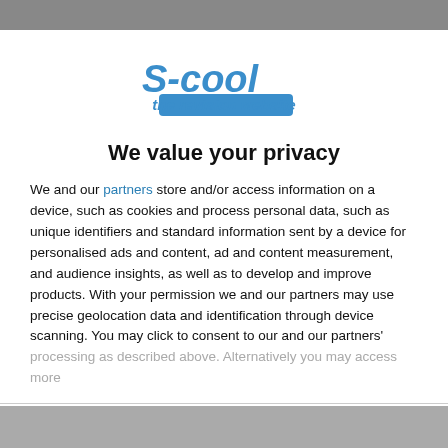[Figure (logo): S-cool the revision website logo in blue stylized lettering]
We value your privacy
We and our partners store and/or access information on a device, such as cookies and process personal data, such as unique identifiers and standard information sent by a device for personalised ads and content, ad and content measurement, and audience insights, as well as to develop and improve products. With your permission we and our partners may use precise geolocation data and identification through device scanning. You may click to consent to our and our partners' processing as described above. Alternatively you may access more
AGREE
MORE OPTIONS